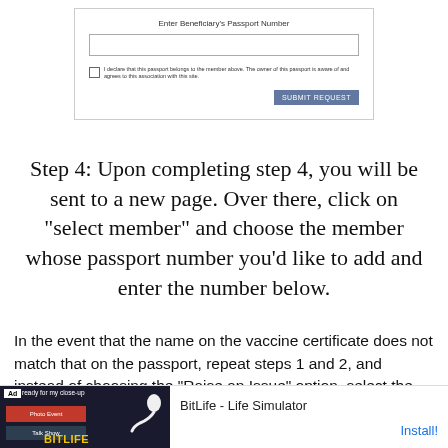[Figure (screenshot): Web form screenshot showing 'Enter Beneficiary's Passport Number' input field, a checkbox with small text, and a blue 'SUBMIT REQUEST' button]
Step 4: Upon completing step 4, you will be sent to a new page. Over there, click on "select member" and choose the member whose passport number you'd like to add and enter the number below.
In the event that the name on the vaccine certificate does not match that on the passport, repeat steps 1 and 2, and instead of choosing the "Raise an Issue" option, select the "Certificate Correction" option.
This will lead you to another page, where you will have to choose the member whose details you'd like to correct along with the information you want to correct. In this case, tick the
[Figure (screenshot): Advertisement banner for BitLife - Life Simulator app with Install button]